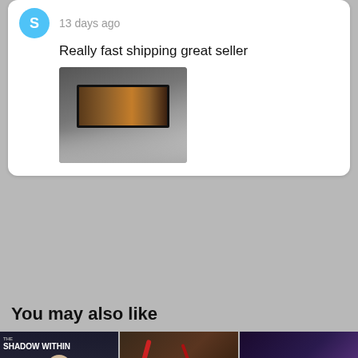13 days ago
Really fast shipping great seller
[Figure (photo): Photo of a framed painting/artwork depicting horses or battle scene, shown hanging on a light wall]
You may also like
[Figure (photo): Movie poster: The Shadow Within - showing a pale child's face]
[Figure (photo): Movie poster: Horror film with red blood splatter on wall]
[Figure (photo): Movie poster: Sci-fi film showing an alien/futuristic face]
[Figure (photo): Movie poster: Country music artist with guitar]
[Figure (photo): Movie poster: Nicolas Cage in Dying of the Light]
[Figure (photo): Movie poster: Split-tone thriller with two faces]
[Figure (photo): Partial movie poster at bottom left]
[Figure (photo): Partial movie poster at bottom center]
[Figure (photo): Partial movie poster at bottom right]